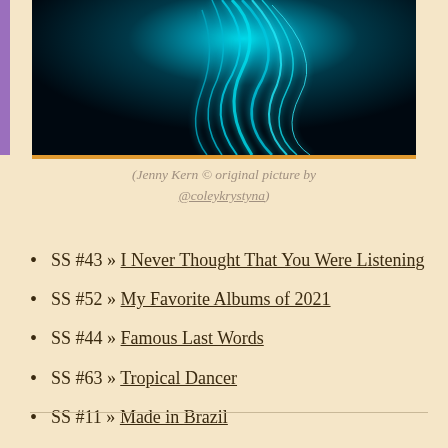[Figure (photo): Dark artistic photo of a person with glowing teal/cyan flowing hair against a black background]
(Jenny Kern © original picture by @coleykrystyna)
SS #43 » I Never Thought That You Were Listening
SS #52 » My Favorite Albums of 2021
SS #44 » Famous Last Words
SS #63 » Tropical Dancer
SS #11 » Made in Brazil